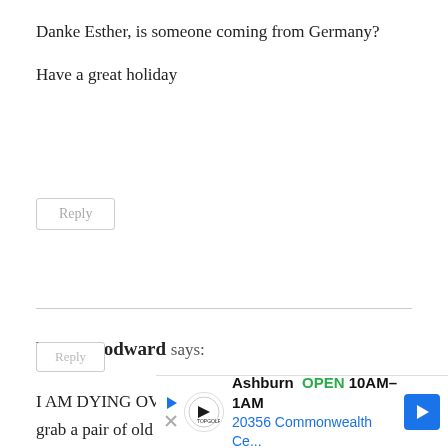Danke Esther, is someone coming from Germany?
Have a great holiday
Reply
Kim Woodward says:
I AM DYING OVER THE DENIM. Like, I just want to grab a pair of old jeans and change everything in my house. So clever and cute. Everything looks amazing.
Reply
Ashburn OPEN 10AM–1AM 20356 Commonwealth Ce...